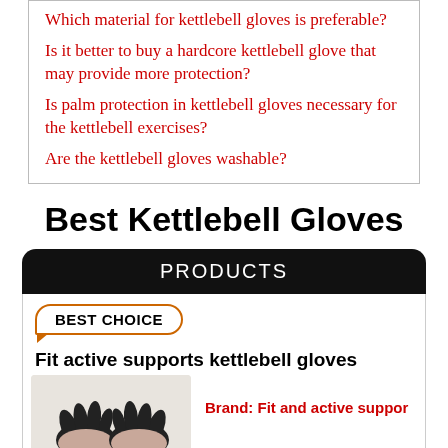Which material for kettlebell gloves is preferable?
Is it better to buy a hardcore kettlebell glove that may provide more protection?
Is palm protection in kettlebell gloves necessary for the kettlebell exercises?
Are the kettlebell gloves washable?
Best Kettlebell Gloves
PRODUCTS
BEST CHOICE
Fit active supports kettlebell gloves
Brand: Fit and active suppor